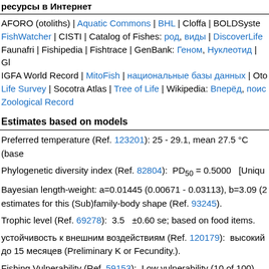ресурсы в Интернет
AFORO (otoliths) | Aquatic Commons | BHL | Cloffa | BOLDSyste FishWatcher | CISTI | Catalog of Fishes: род, виды | DiscoverLife Faunafri | Fishipedia | Fishtrace | GenBank: Геном, Нуклеотид | G IGFA World Record | MitoFish | национальные базы данных | Oto Life Survey | Socotra Atlas | Tree of Life | Wikipedia: Вперёд, поис Zoological Record
Estimates based on models
Preferred temperature (Ref. 123201): 25 - 29.1, mean 27.5 °C (base
Phylogenetic diversity index (Ref. 82804):  PD50 = 0.5000   [Uniqu
Bayesian length-weight: a=0.01445 (0.00671 - 0.03113), b=3.09 (2 estimates for this (Sub)family-body shape (Ref. 93245).
Trophic level (Ref. 69278):  3.5   ±0.60 se; based on food items.
устойчивость к внешним воздействиям (Ref. 120179):  высокий до 15 месяцев (Preliminary K or Fecundity.).
Fishing Vulnerability (Ref. 59153):  Low vulnerability (10 of 100).
Comments & Corrections
Back to Search    Random Species    Back to T